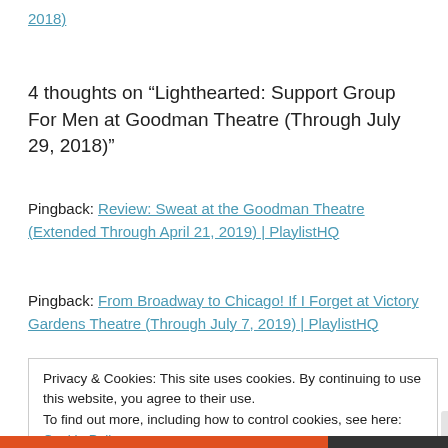2018)
4 thoughts on “Lighthearted: Support Group For Men at Goodman Theatre (Through July 29, 2018)”
Pingback: Review: Sweat at the Goodman Theatre (Extended Through April 21, 2019) | PlaylistHQ
Pingback: From Broadway to Chicago! If I Forget at Victory Gardens Theatre (Through July 7, 2019) | PlaylistHQ
Privacy & Cookies: This site uses cookies. By continuing to use this website, you agree to their use.
To find out more, including how to control cookies, see here: Cookie Policy